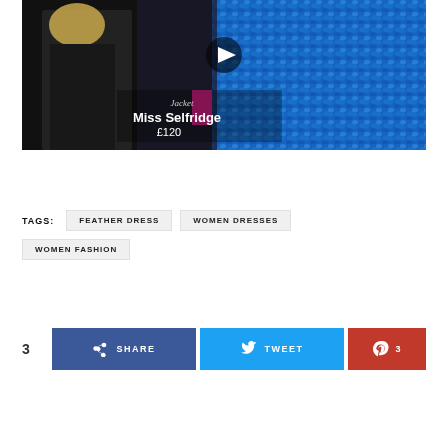[Figure (photo): Video thumbnail showing women in fashion outfits, one in blue feathered garment, with overlay text 'Jacket Miss Selfridge £120' and a play button]
TAGS: FEATHER DRESS  WOMEN DRESSES  WOMEN FASHION
3  SHARE  TWEET  3